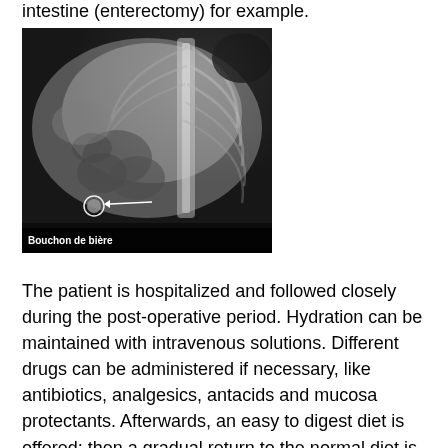intestine (enterectomy) for example.
[Figure (photo): X-ray image of an animal abdomen showing a foreign body (beer bottle cap) indicated by a white arrow. Caption reads 'Bouchon de bière'.]
Bouchon de bière
The patient is hospitalized and followed closely during the post-operative period. Hydration can be maintained with intravenous solutions. Different drugs can be administered if necessary, like antibiotics, analgesics, antacids and mucosa protectants. Afterwards, an easy to digest diet is offered; then a gradual return to the normal diet is